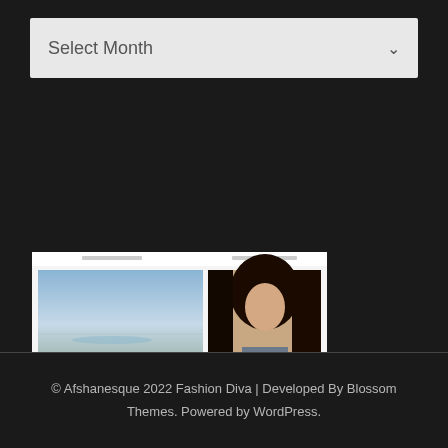Select Month
[Figure (screenshot): Screenshot of a fashion/lifestyle website showing a grid of articles with images including landscape, people, beauty content]
© Afshanesque 2022 Fashion Diva | Developed By Blossom Themes. Powered by WordPress.